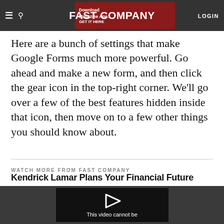FAST COMPANY | LOGIN
Here are a bunch of settings that make Google Forms much more powerful. Go ahead and make a new form, and then click the gear icon in the top-right corner. We'll go over a few of the best features hidden inside that icon, then move on to a few other things you should know about.
WATCH MORE FROM FAST COMPANY
Kendrick Lamar Plans Your Financial Future
[Figure (screenshot): Video player showing 'This video cannot be' message on a dark background within the Fast Company website]